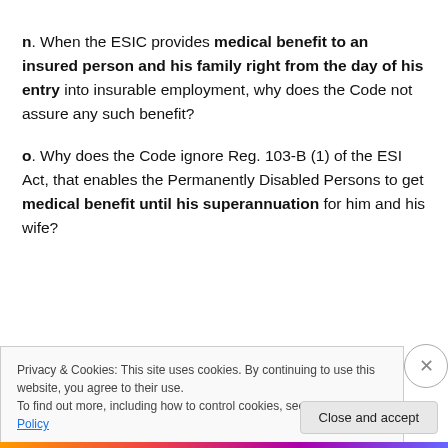n. When the ESIC provides medical benefit to an insured person and his family right from the day of his entry into insurable employment, why does the Code not assure any such benefit?
o. Why does the Code ignore Reg. 103-B (1) of the ESI Act, that enables the Permanently Disabled Persons to get medical benefit until his superannuation for him and his wife?
Privacy & Cookies: This site uses cookies. By continuing to use this website, you agree to their use. To find out more, including how to control cookies, see here: Cookie Policy